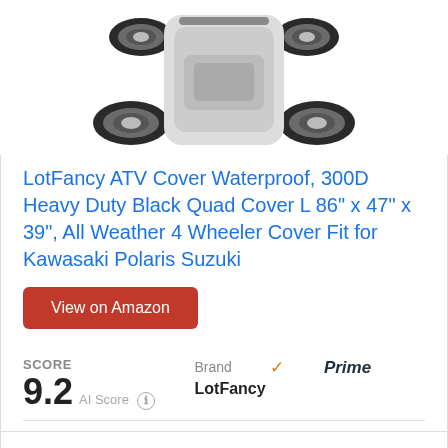[Figure (photo): ATV vehicle showing top and wheels from above on white background]
LotFancy ATV Cover Waterproof, 300D Heavy Duty Black Quad Cover L 86" x 47" x 39", All Weather 4 Wheeler Cover Fit for Kawasaki Polaris Suzuki
View on Amazon
SCORE
9.2 AI Score
Brand
LotFancy
Prime
【Waterproof】This quad cover is made of waterproof material, with 3000mm waterproof rating on the top and 1000mm waterproof rating on the side.The 2 air vents with hook-and-